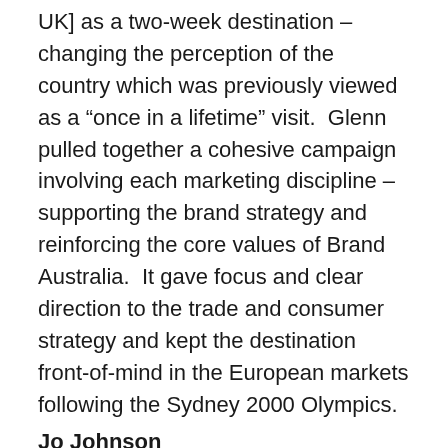UK] as a two-week destination – changing the perception of the country which was previously viewed as a "once in a lifetime" visit.  Glenn pulled together a cohesive campaign involving each marketing discipline – supporting the brand strategy and reinforcing the core values of Brand Australia.  It gave focus and clear direction to the trade and consumer strategy and kept the destination front-of-mind in the European markets following the Sydney 2000 Olympics.
Jo Johnson
Deputy Managing Director, bgb communications, London
Glenn is one of the finest marketers I have ever had the opportunity to work with. He has the rare combination of being able to see the big picture, to think both strategically